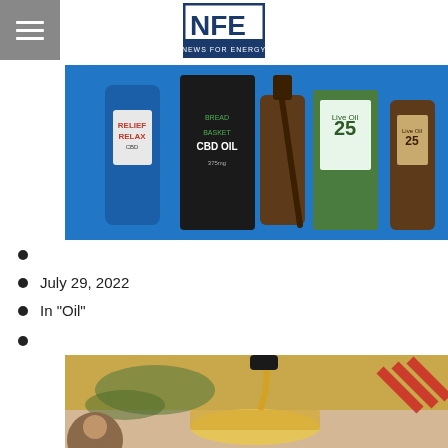NFE News For Energy
[Figure (photo): Various CBD oil products on blue background including BREAD CBD OIL, Live Oil 25, Relief Relax CBD bottles]
July 29, 2022
In "Oil"
[Figure (photo): Olive oil being poured into a glass bowl, with red striped watermark overlay, and person avatar in bottom left corner]